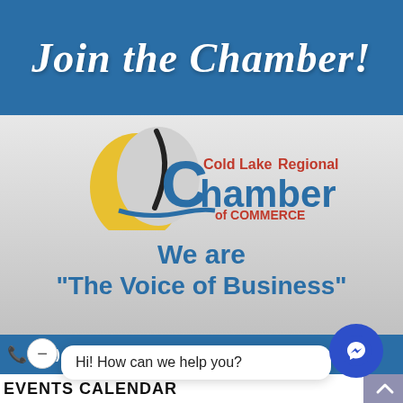Join the Chamber!
[Figure (logo): Cold Lake Regional Chamber of Commerce logo with yellow crescent sail shape, blue C letter, and red/blue text reading 'Cold Lake Regional Chamber of Commerce']
We are
"The Voice of Business"
(780) 594-4747   www.coldlakechamb...
Hi! How can we help you?
EVENTS CALENDAR